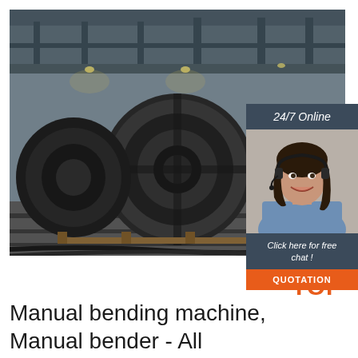[Figure (photo): Industrial warehouse interior showing large black steel coil rolls stacked on wooden pallets, with industrial ceiling and lighting visible in background.]
[Figure (infographic): Online chat widget with dark blue header reading '24/7 Online', photo of a smiling woman with headset, dark blue footer text 'Click here for free chat !' and an orange button labeled 'QUOTATION'.]
[Figure (logo): TOP logo in orange color with dot pattern above the letters.]
Manual bending machine, Manual bender - All